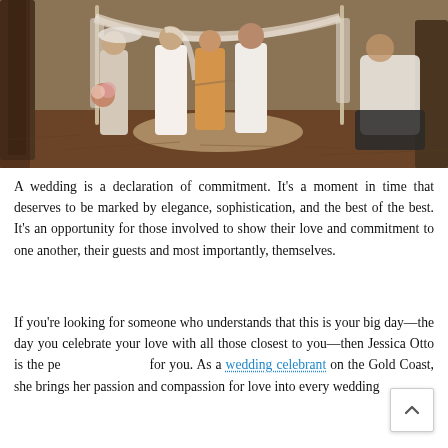[Figure (photo): Outdoor wedding ceremony photo showing a bride in white dress, groom in white suit, officiant in golden/orange dress, bridesmaid in beige, all standing under a fabric arch on a round mat surrounded by pine trees and fall pine needle ground cover. A photographer is visible crouching on the right.]
A wedding is a declaration of commitment. It's a moment in time that deserves to be marked by elegance, sophistication, and the best of the best. It's an opportunity for those involved to show their love and commitment to one another, their guests and most importantly, themselves.
If you're looking for someone who understands that this is your big day—the day you celebrate your love with all those closest to you—then Jessica Otto is the perfect for you. As a wedding celebrant on the Gold Coast, she brings her passion and compassion for love into every wedding